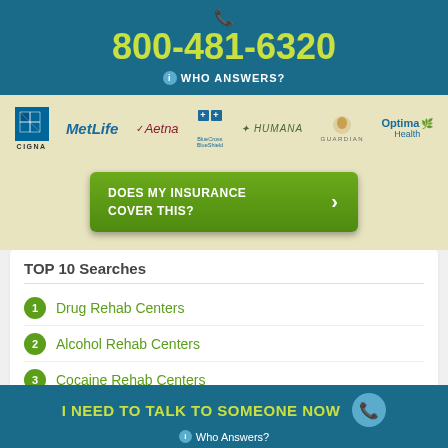800-481-6320
WHO ANSWERS?
[Figure (logo): Insurance company logos: CIGNA, MetLife, Aetna, BlueCross BlueShield, Humana, Guardian, Optima Health]
DOES MY INSURANCE COVER THIS?
TOP 10 Searches
Drug Rehab Centers
Alcohol Rehab Centers
Cocaine Rehab Centers
I NEED TO TALK TO SOMEONE NOW
Who Answers?